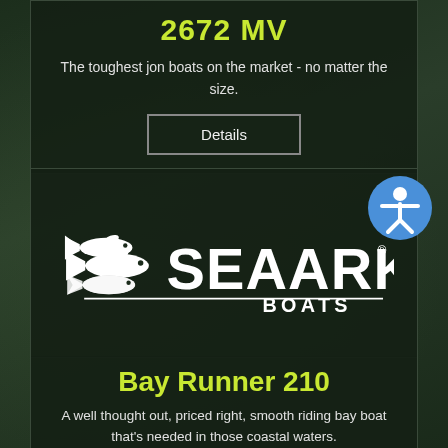2672 MV
The toughest jon boats on the market - no matter the size.
Details
[Figure (logo): SeaArk Boats logo with white fish silhouettes and bold SeaArk text]
Bay Runner 210
A well thought out, priced right, smooth riding bay boat that's needed in those coastal waters.
Details